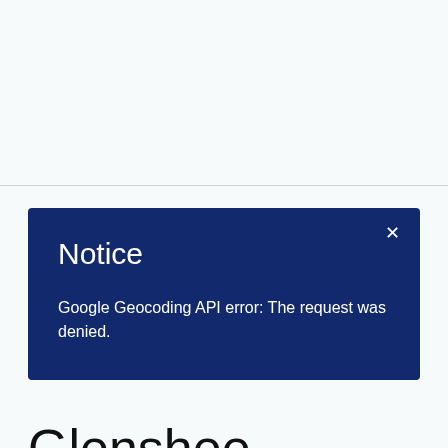Notice
Google Geocoding API error: The request was denied.
Glenshee